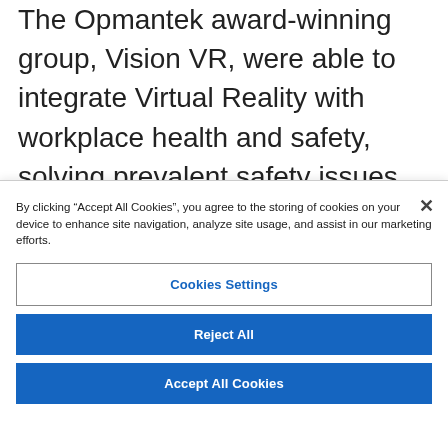The Opmantek award-winning group, Vision VR, were able to integrate Virtual Reality with workplace health and safety, solving prevalent safety issues for factory and production line workers. The software developed by the team, allows employees to familiarise themselves with training, machinery and daily operations. The
By clicking “Accept All Cookies”, you agree to the storing of cookies on your device to enhance site navigation, analyze site usage, and assist in our marketing efforts.
Cookies Settings
Reject All
Accept All Cookies